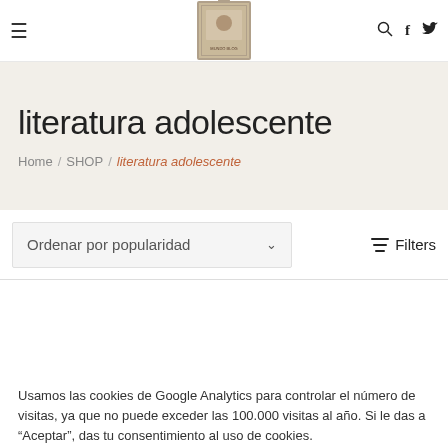≡  [logo: MUNDO BLOG]  🔍  f  🐦
literatura adolescente
Home / SHOP / literatura adolescente
Ordenar por popularidad  ∨  Filters
Usamos las cookies de Google Analytics para controlar el número de visitas, ya que no puede exceder las 100.000 visitas al año. Si le das a "Aceptar", das tu consentimiento al uso de cookies.